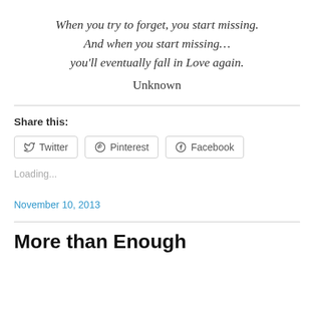When you try to forget, you start missing. And when you start missing… you'll eventually fall in Love again. Unknown
Share this:
Twitter  Pinterest  Facebook
Loading...
November 10, 2013
More than Enough